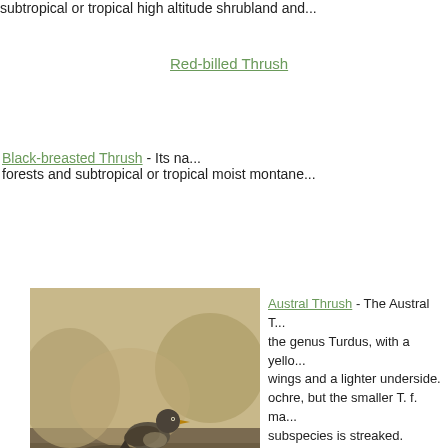subtropical or tropical high altitude shrubland and...
Red-billed Thrush
Black-breasted Thrush - Its na... forests and subtropical or tropical moist montane...
[Figure (photo): A bird (Austral Thrush) perched on a rock surrounded by vegetation]
Austral Thrush
Austral Thrush - The Austral T... the genus Turdus, with a yello... wings and a lighter underside. ochre, but the smaller T. f. ma... subspecies is streaked.